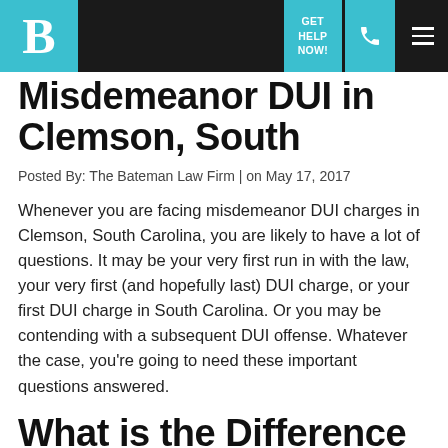B | GET HELP NOW! [phone icon] [menu icon]
Misdemeanor DUI in Clemson, South Carolina?
Posted By: The Bateman Law Firm | on May 17, 2017
Whenever you are facing misdemeanor DUI charges in Clemson, South Carolina, you are likely to have a lot of questions. It may be your very first run in with the law, your very first (and hopefully last) DUI charge, or your first DUI charge in South Carolina. Or you may be contending with a subsequent DUI offense. Whatever the case, you’re going to need these important questions answered.
What is the Difference